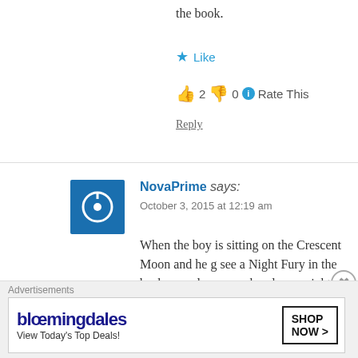the book.
★ Like
👍 2 👎 0 ℹ Rate This
Reply
NovaPrime says: October 3, 2015 at 12:19 am
When the boy is sitting on the Crescent Moon and he g... see a Night Fury in the background, you can barely see... night.
★ Like
Advertisements - Bloomingdales View Today's Top Deals! SHOP NOW >